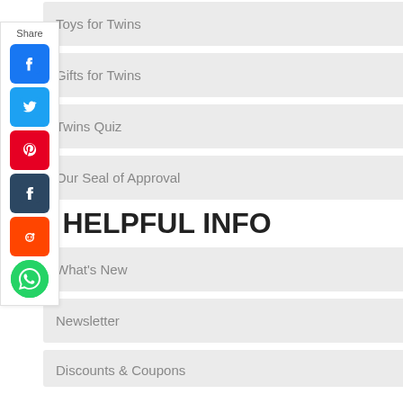Toys for Twins
Gifts for Twins
Twins Quiz
Our Seal of Approval
HELPFUL INFO
What's New
Newsletter
Discounts & Coupons